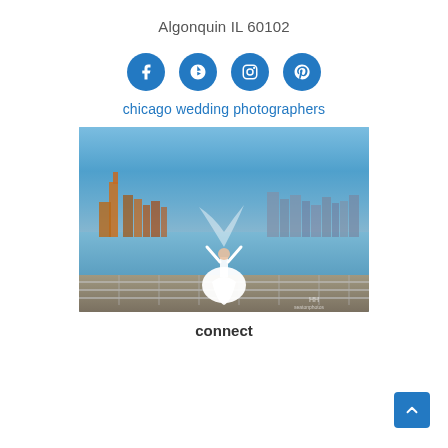Algonquin IL 60102
[Figure (infographic): Four blue circular social media icon buttons: Facebook, Yelp, Instagram, Pinterest]
chicago wedding photographers
[Figure (photo): Wedding photo of a bride in white dress with arms raised, standing on a waterfront pier with the Chicago skyline at dusk in the background]
connect